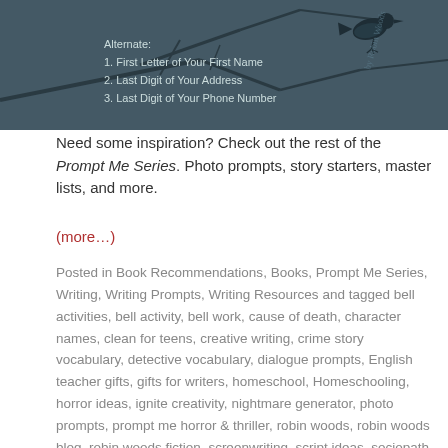[Figure (illustration): Dark teal/slate background with a bird silhouette perched on branches. Text overlay reads: 'Alternate: 1. First Letter of Your First Name 2. Last Digit of Your Address 3. Last Digit of Your Phone Number'. Watermark text 'by Robin Woods' in script.]
Need some inspiration? Check out the rest of the Prompt Me Series. Photo prompts, story starters, master lists, and more.
(more…)
Posted in Book Recommendations, Books, Prompt Me Series, Writing, Writing Prompts, Writing Resources and tagged bell activities, bell activity, bell work, cause of death, character names, clean for teens, creative writing, crime story vocabulary, detective vocabulary, dialogue prompts, English teacher gifts, gifts for writers, homeschool, Homeschooling, horror ideas, ignite creativity, nightmare generator, photo prompts, prompt me horror & thriller, robin woods, robin woods blog, robin woods fiction, screenwriting, script ideas, sociopath traits, sponge activities, sponge activity, stephen king wannabe, story starter, superstitions, teacher gifts, thriller generator, writing curriculum, writing horror, writing journal, Writing Prompts, writing sample on September 20, 2019. 2 Comments